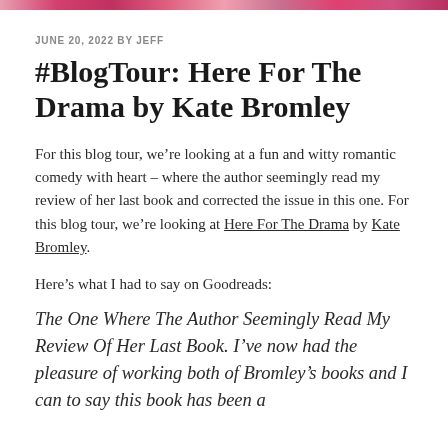[decorative banner image strip]
JUNE 20, 2022 BY JEFF
#BlogTour: Here For The Drama by Kate Bromley
For this blog tour, we’re looking at a fun and witty romantic comedy with heart – where the author seemingly read my review of her last book and corrected the issue in this one. For this blog tour, we’re looking at Here For The Drama by Kate Bromley.
Here’s what I had to say on Goodreads:
The One Where The Author Seemingly Read My Review Of Her Last Book. I’ve now had the pleasure of working both of Bromley’s books and I can to say this book has been a...